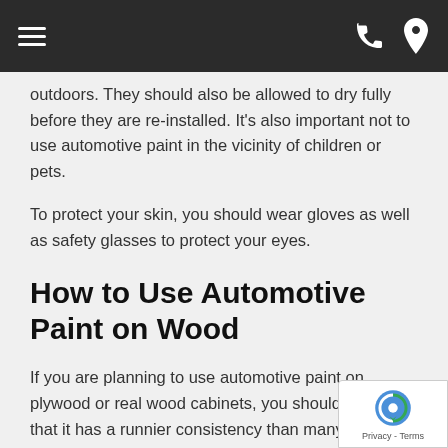[Navigation bar with hamburger menu, phone icon, and location pin icon]
outdoors.  They should also be allowed to dry fully before they are re-installed.  It's also important not to use automotive paint in the vicinity of children or pets.
To protect your skin, you should wear gloves as well as safety glasses to protect your eyes.
How to Use Automotive Paint on Wood
If you are planning to use automotive paint on plywood or real wood cabinets, you should be aware that it has a runnier consistency than many other types of paint intended for use in the home.  So you will need to apply